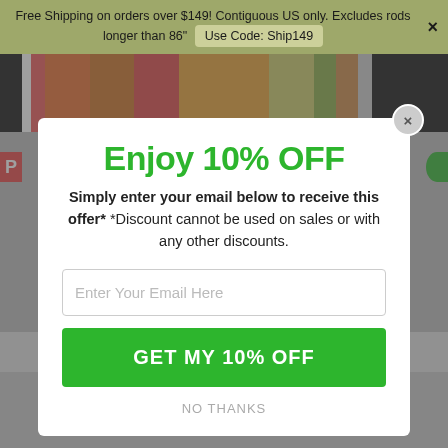Free Shipping on orders over $149! Contiguous US only. Excludes rods longer than 86" Use Code: Ship149
[Figure (screenshot): Background website page with image strip behind modal overlay]
Enjoy 10% OFF
Simply enter your email below to receive this offer* *Discount cannot be used on sales or with any other discounts.
Enter Your Email Here
GET MY 10% OFF
NO THANKS
[Figure (other): Five empty star rating icons]
0 Reviews